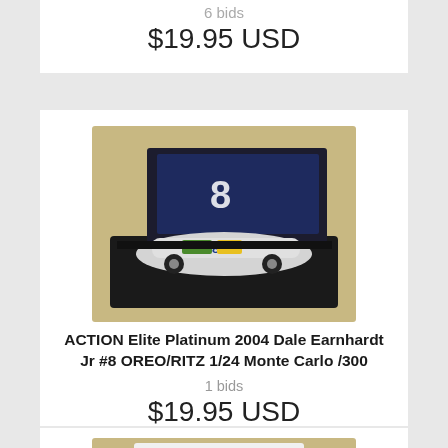6 bids
$19.95 USD
[Figure (photo): ACTION Elite Platinum 2004 Dale Earnhardt Jr #8 OREO/RITZ 1/24 Monte Carlo /300 die-cast car in display case]
ACTION Elite Platinum 2004 Dale Earnhardt Jr #8 OREO/RITZ 1/24 Monte Carlo /300
1 bids
$19.95 USD
[Figure (photo): Die-cast car in Race Fans box, partially visible at bottom of page]